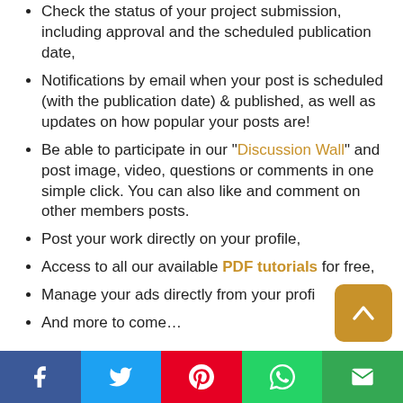Check the status of your project submission, including approval and the scheduled publication date,
Notifications by email when your post is scheduled (with the publication date) & published, as well as updates on how popular your posts are!
Be able to participate in our "Discussion Wall" and post image, video, questions or comments in one simple click. You can also like and comment on other members posts.
Post your work directly on your profile,
Access to all our available PDF tutorials for free,
Manage your ads directly from your profi...
And more to come…